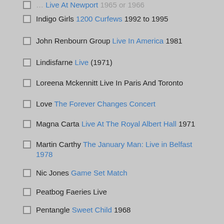Indigo Girls 1200 Curfews 1992 to 1995
John Renbourn Group Live In America 1981
Lindisfarne Live (1971)
Loreena Mckennitt Live In Paris And Toronto
Love The Forever Changes Concert
Magna Carta Live At The Royal Albert Hall 1971
Martin Carthy The January Man: Live in Belfast 1978
Nic Jones Game Set Match
Peatbog Faeries Live
Pentangle Sweet Child 1968
Pete Seeger & Arlo Guthrie Together In Concert
Pete Seeger We Shall Overcome: Complete Carnegie Hall Concert